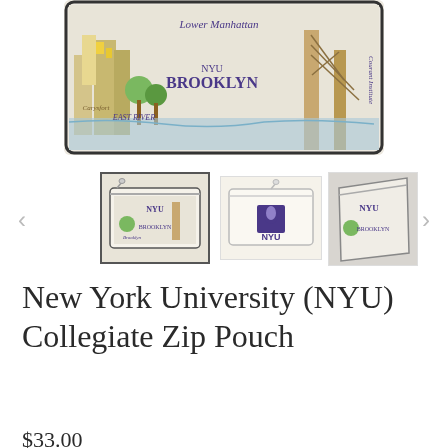[Figure (photo): Main product image showing NYU Brooklyn illustrated zip pouch with colorful New York City map design including labels: Lower Manhattan, NYU, Brooklyn, East River, Carysfort]
[Figure (photo): Thumbnail 1 (selected): Front face of NYU collegiate zip pouch showing illustrated NYC map design]
[Figure (photo): Thumbnail 2: Back/plain side of zip pouch in cream/ivory canvas with purple NYU logo and text]
[Figure (photo): Thumbnail 3: Angled view of NYU zip pouch showing illustrated design]
New York University (NYU) Collegiate Zip Pouch
$33.00